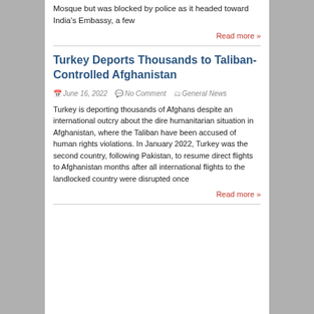Mosque but was blocked by police as it headed toward India's Embassy, a few
Read more »
Turkey Deports Thousands to Taliban-Controlled Afghanistan
June 16, 2022   No Comment   General News
Turkey is deporting thousands of Afghans despite an international outcry about the dire humanitarian situation in Afghanistan, where the Taliban have been accused of human rights violations. In January 2022, Turkey was the second country, following Pakistan, to resume direct flights to Afghanistan months after all international flights to the landlocked country were disrupted once
Read more »